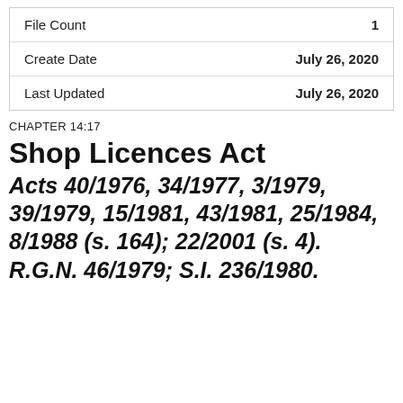| Field | Value |
| --- | --- |
| File Count | 1 |
| Create Date | July 26, 2020 |
| Last Updated | July 26, 2020 |
CHAPTER 14:17
Shop Licences Act
Acts 40/1976, 34/1977, 3/1979, 39/1979, 15/1981, 43/1981, 25/1984, 8/1988 (s. 164); 22/2001 (s. 4). R.G.N. 46/1979; S.I. 236/1980.